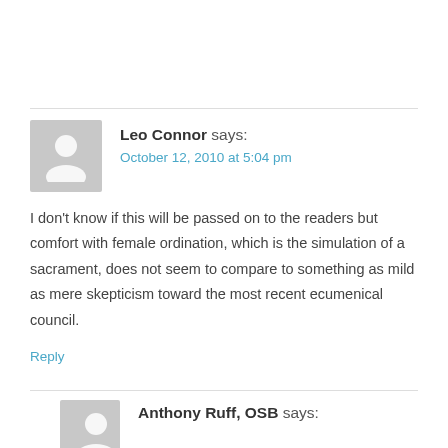Leo Connor says:
October 12, 2010 at 5:04 pm
I don't know if this will be passed on to the readers but comfort with female ordination, which is the simulation of a sacrament, does not seem to compare to something as mild as mere skepticism toward the most recent ecumenical council.
Reply
Anthony Ruff, OSB says: